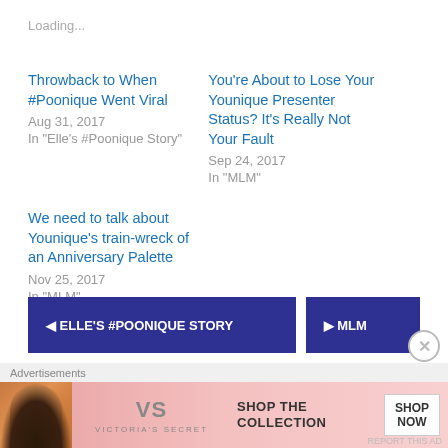Loading...
Throwback to When #Poonique Went Viral
Aug 31, 2017
In "Elle's #Poonique Story"
You're About to Lose Your Younique Presenter Status? It's Really Not Your Fault
Sep 24, 2017
In "MLM"
We need to talk about Younique's train-wreck of an Anniversary Palette
Nov 25, 2017
In "MLM"
[Figure (screenshot): Two blue navigation buttons partially visible at the bottom: 'ELLE'S #POONIQUE STORY' and 'MLM']
Advertisements
[Figure (photo): Victoria's Secret advertisement banner with a woman model, VS logo, SHOP THE COLLECTION text, and SHOP NOW button]